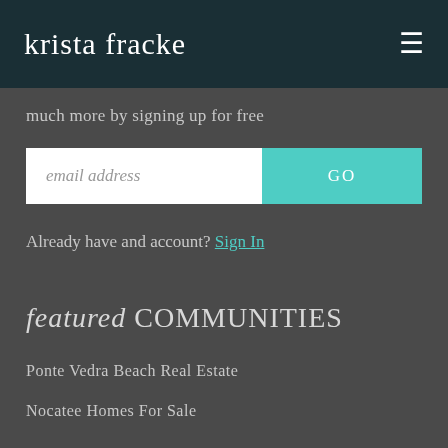krista fracke
much more by signing up for free
[Figure (other): Email signup form with text input field showing placeholder 'email address' and a teal GO button]
Already have and account? Sign In
featured COMMUNITIES
Ponte Vedra Beach Real Estate
Nocatee Homes For Sale